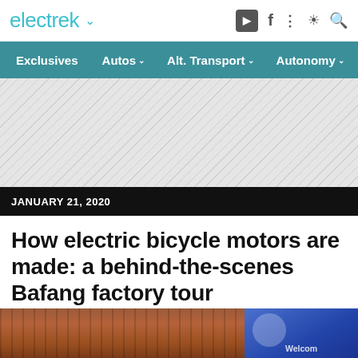electrek
Exclusives | Autos | Alt. Transport | Autonomy
[Figure (other): Advertisement placeholder with diagonal hatch pattern]
JANUARY 21, 2020
How electric bicycle motors are made: a behind-the-scenes Bafang factory tour
Micah Toll  - Jan. 21st 2020 8:15 am PT  @MicahToll
[Figure (photo): Bottom portion showing a building facade with brown/red corrugated panels on the left and a blue background with partial text on the right]